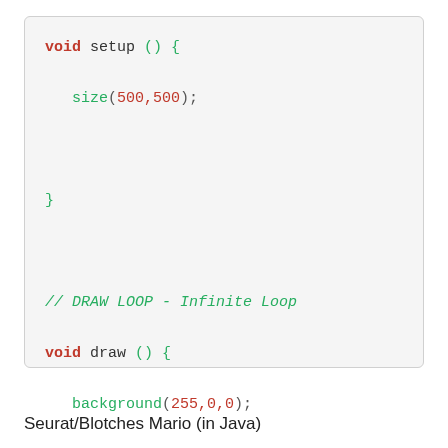void setup () {

    size(500,500);


}


// DRAW LOOP - Infinite Loop

void draw () {

    background(255,0,0);

    ellipse(mouseX, mouseY, 20, 20);
}
Seurat/Blotches Mario (in Java)